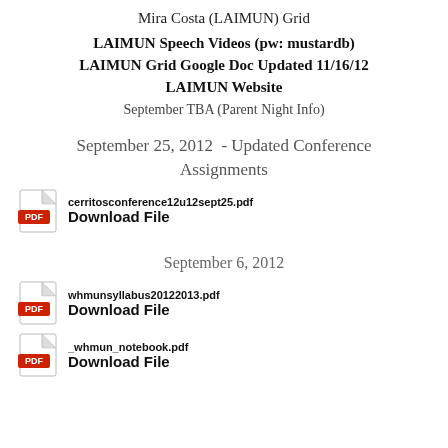Mira Costa (LAIMUN) Grid
LAIMUN Speech Videos (pw: mustardb)
LAIMUN Grid Google Doc Updated 11/16/12
LAIMUN Website
September TBA (Parent Night Info)
September 25, 2012  - Updated Conference Assignments
[Figure (other): PDF file download icon with filename cerritosconference12u12sept25.pdf and Download File link]
September 6, 2012
[Figure (other): PDF file download icon with filename whmunsyllabus20122013.pdf and Download File link]
[Figure (other): PDF file download icon with filename _whmun_notebook.pdf and Download File link (partially visible)]